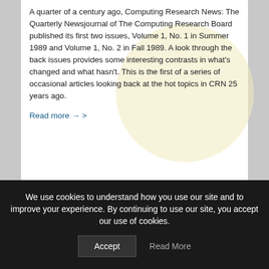A quarter of a century ago, Computing Research News: The Quarterly Newsjournal of The Computing Research Board published its first two issues, Volume 1, No. 1 in Summer 1989 and Volume 1, No. 2 in Fall 1989. A look through the back issues provides some interesting contrasts in what's changed and what hasn't. This is the first of a series of occasional articles looking back at the hot topics in CRN 25 years ago.
Read more →
CRA-WP
We use cookies to understand how you use our site and to improve your experience. By continuing to use our site, you accept our use of cookies.
Accept
Read More